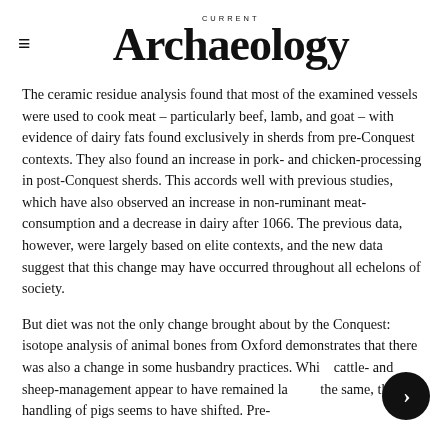CURRENT Archaeology
The ceramic residue analysis found that most of the examined vessels were used to cook meat – particularly beef, lamb, and goat – with evidence of dairy fats found exclusively in sherds from pre-Conquest contexts. They also found an increase in pork- and chicken-processing in post-Conquest sherds. This accords well with previous studies, which have also observed an increase in non-ruminant meat-consumption and a decrease in dairy after 1066. The previous data, however, were largely based on elite contexts, and the new data suggest that this change may have occurred throughout all echelons of society.
But diet was not the only change brought about by the Conquest: isotope analysis of animal bones from Oxford demonstrates that there was also a change in some husbandry practices. While cattle- and sheep-management appear to have remained largely the same, the handling of pigs seems to have shifted. Pre-